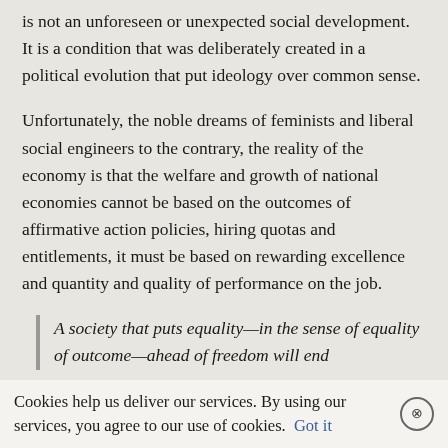is not an unforeseen or unexpected social development.  It is a condition that was deliberately created in a political evolution that put ideology over common sense.
Unfortunately, the noble dreams of feminists and liberal social engineers to the contrary, the reality of the economy is that the welfare and growth of national economies cannot be based on the outcomes of affirmative action policies, hiring quotas and entitlements, it must be based on rewarding excellence and quantity and quality of performance on the job.
A society that puts equality—in the sense of equality of outcome—ahead of freedom will end
Cookies help us deliver our services. By using our services, you agree to our use of cookies. Got it